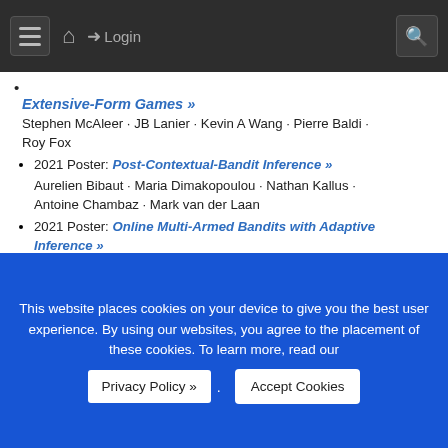Navigation bar with hamburger menu, home, login, and search icons
Extensive-Form Games » — Stephen McAleer · JB Lanier · Kevin A Wang · Pierre Baldi · Roy Fox
2021 Poster: Post-Contextual-Bandit Inference » — Aurelien Bibaut · Maria Dimakopoulou · Nathan Kallus · Antoine Chambaz · Mark van der Laan
2021 Poster: Online Multi-Armed Bandits with Adaptive Inference » — Maria Dimakopoulou · Zhimei Ren · Zhengyuan Zhou
2020 Poster: Shared Space Transfer Learning for analyzing multi-site fMRI data » — Tony Muhammad Yousefnezhad · Alessandro Selvitella · Daoqiang Zhang · Andrew Greenshaw · Russell Greiner
2020 Poster: Pipeline PSRO: A Scalable Approach for ...
This website places cookies on your device to give you the best user experience. By using our websites, you agree to the placement of these cookies. To learn more, read our Privacy Policy ».